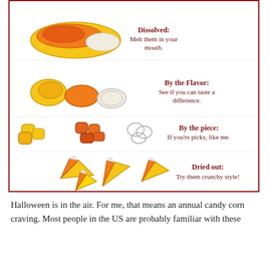[Figure (illustration): Illustrated candy corn pieces shown in various states: melted/dissolved pile, separated by color sections, individual pieces by color, and dried out whole candy corn pieces. Each row shows a different way of eating candy corn, with text labels on the right side.]
Dissolved: Melt them in your mouth.
By the Flavor: See if you can taste a difference.
By the piece: If you're picky, like me.
Dried out: Try them crunchy style!
Halloween is in the air. For me, that means an annual candy corn craving. Most people in the US are probably familiar with these